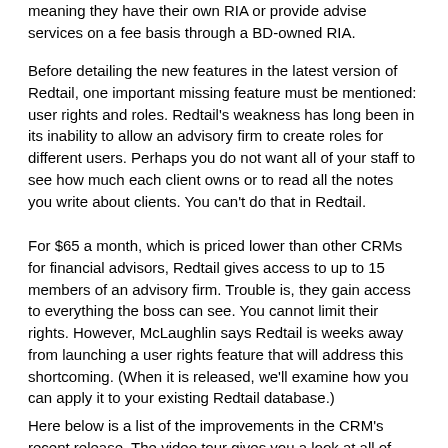meaning they have their own RIA or provide advise services on a fee basis through a BD-owned RIA.
Before detailing the new features in the latest version of Redtail, one important missing feature must be mentioned: user rights and roles. Redtail's weakness has long been in its inability to allow an advisory firm to create roles for different users. Perhaps you do not want all of your staff to see how much each client owns or to read all the notes you write about clients. You can't do that in Redtail.
For $65 a month, which is priced lower than other CRMs for financial advisors, Redtail gives access to up to 15 members of an advisory firm. Trouble is, they gain access to everything the boss can see. You cannot limit their rights. However, McLaughlin says Redtail is weeks away from launching a user rights feature that will address this shortcoming. (When it is released, we'll examine how you can apply it to your existing Redtail database.)
Here below is a list of the improvements in the CRM's recent release. The video tour gives you a look at all of this.